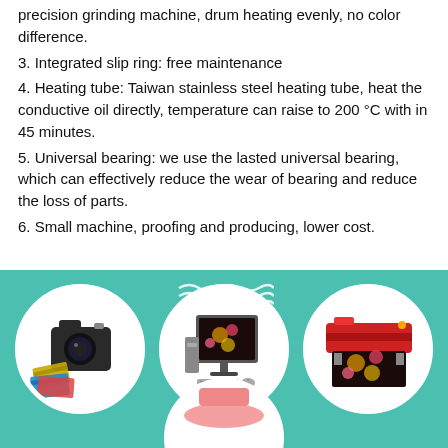precision grinding machine, drum heating evenly, no color difference.
3. Integrated slip ring: free maintenance
4. Heating tube: Taiwan stainless steel heating tube, heat the conductive oil directly, temperature can raise to 200 °C with in 45 minutes.
5. Universal bearing: we use the lasted universal bearing, which can effectively reduce the wear of bearing and reduce the loss of parts.
6. Small machine, proofing and producing, lower cost.
[Figure (illustration): Teal background section with three circular icons showing: a camera with film strips, a desktop computer with monitor displaying floral print, and a wide-format printer with floral print output. Decorative wave lines at top center. Partial circular icon visible at bottom center.]